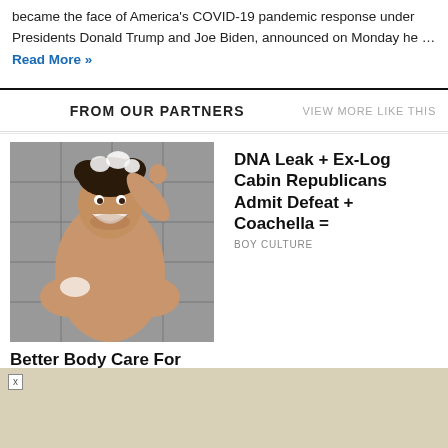became the face of America's COVID-19 pandemic response under Presidents Donald Trump and Joe Biden, announced on Monday he … Read More »
FROM OUR PARTNERS
VIEW MORE LIKE THIS
[Figure (photo): Man washing hair in shower, smiling, gray tile background]
Better Body Care For Men, From Cardon
TOPDUST
DNA Leak + Ex-Log Cabin Republicans Admit Defeat + Coachella =
BOY CULTURE